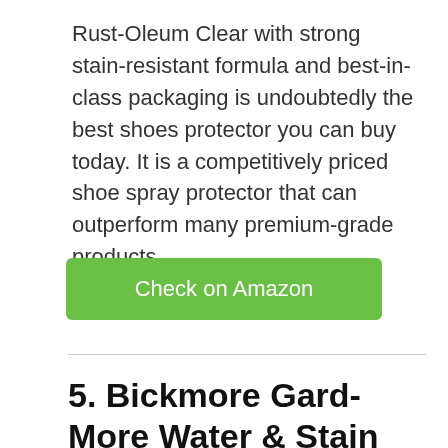Rust-Oleum Clear with strong stain-resistant formula and best-in-class packaging is undoubtedly the best shoes protector you can buy today. It is a competitively priced shoe spray protector that can outperform many premium-grade products.
Check on Amazon
5. Bickmore Gard-More Water & Stain Repellent